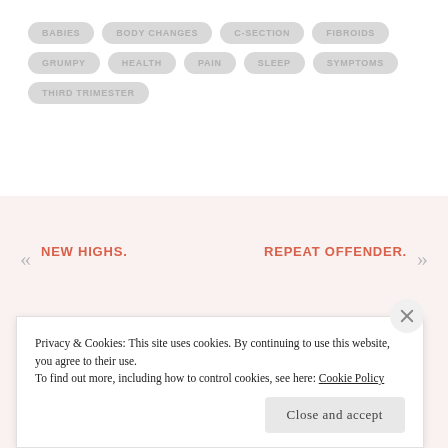BABIES  BODY CHANGES  C-SECTION  FIBROIDS  GRUMPY  HEALTH  PAIN  SLEEP  SYMPTOMS  THIRD TRIMESTER
« NEW HIGHS.    REPEAT OFFENDER. »
Privacy & Cookies: This site uses cookies. By continuing to use this website, you agree to their use.
To find out more, including how to control cookies, see here: Cookie Policy
Close and accept